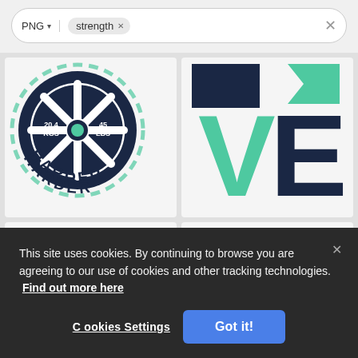[Figure (screenshot): Search bar with PNG filter dropdown and 'strength' search tag with X button, and a clear X on the right]
[Figure (illustration): Weight plate graphic showing 20.4 KGS and 45 LBS with text HARDER, dark navy and green color scheme]
[Figure (illustration): Partial graphic showing letters VE in dark navy and teal/green, part of word LOVE with strength theme]
[Figure (illustration): Man with beard doing bicep curl with dumbbell, wearing teal sleeveless shirt]
[Figure (illustration): Floral arrangement with red rose and purple flowers/leaves on purple base]
This site uses cookies. By continuing to browse you are agreeing to our use of cookies and other tracking technologies. Find out more here
Cookies Settings
Got it!